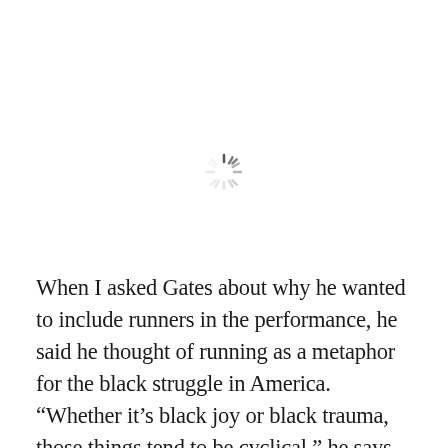[Figure (other): A loading spinner icon (circular dashed wheel) centered near the top of the page]
When I asked Gates about why he wanted to include runners in the performance, he said he thought of running as a metaphor for the black struggle in America. “Whether it’s black joy or black trauma, those things tend to be cyclical,” he says. “It seems like we’re running through